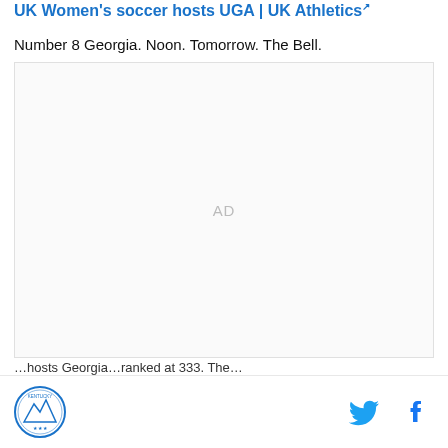UK Women's soccer hosts UGA | UK Athletics
Number 8 Georgia. Noon. Tomorrow. The Bell.
[Figure (other): Advertisement placeholder box with 'AD' label in center]
...hosts Georgia...ranked at 333. The...
UK Athletics logo, Twitter icon, Facebook icon